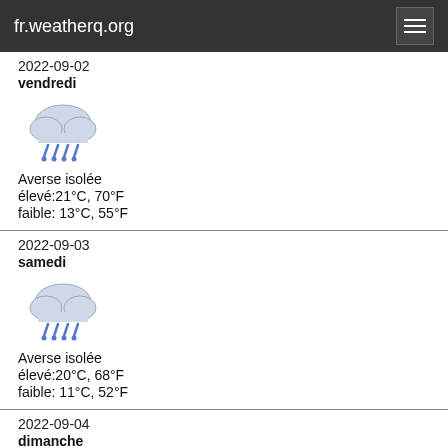fr.weatherq.org
2022-09-02
vendredi
Averse isolée
élevé:21°C,  70°F
faible: 13°C,  55°F
2022-09-03
samedi
Averse isolée
élevé:20°C,  68°F
faible: 11°C,  52°F
2022-09-04
dimanche
Averse isolée